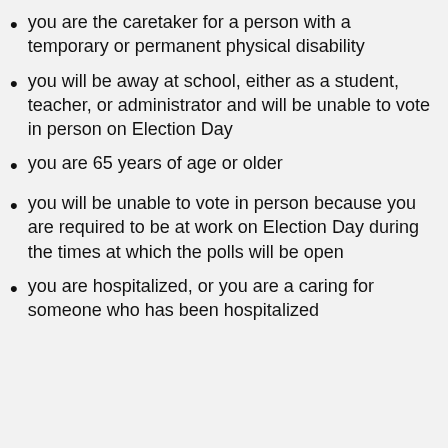you are the caretaker for a person with a temporary or permanent physical disability
you will be away at school, either as a student, teacher, or administrator and will be unable to vote in person on Election Day
you are 65 years of age or older
you will be unable to vote in person because you are required to be at work on Election Day during the times at which the polls will be open
you are hospitalized, or you are a caring for someone who has been hospitalized